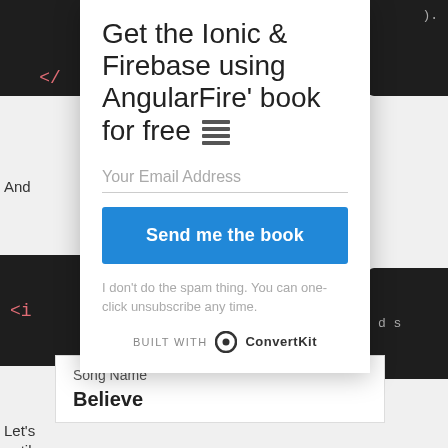Get the Ionic & Firebase using AngularFire' book for free
Your Email Address
Send me the book
I don't do the spam thing. You can one-click unsubscribe any time.
BUILT WITH ConvertKit
| Song Name |
| --- |
| Believe |